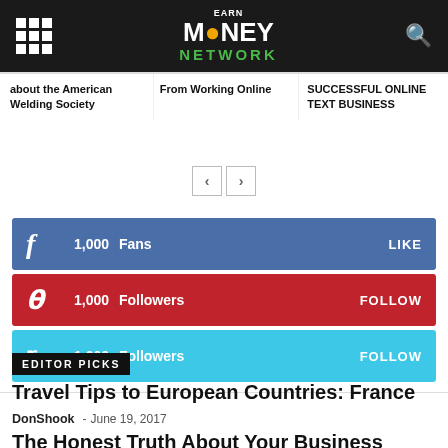Earn Money Network
about the American Welding Society
From Working Online
SUCCESSFUL ONLINE TEXT BUSINESS
1,000 Fans LIKE
1,000 Followers FOLLOW
1,000 Followers FOLLOW
EDITOR PICKS
Travel Tips to European Countries: France
DonShook - June 19, 2017
The Honest Truth About Your Business